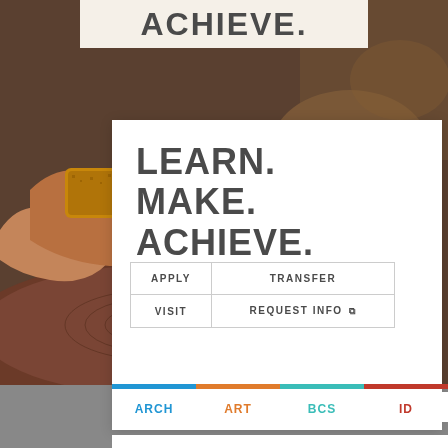[Figure (photo): Person's hands working with clay on a pottery wheel, with brown clay and circular grooves visible. Background is blurred workshop setting.]
LEARN.
MAKE.
ACHIEVE.
| APPLY | TRANSFER |
| VISIT | REQUEST INFO ⧉ |
ARCH
ART
BCS
ID